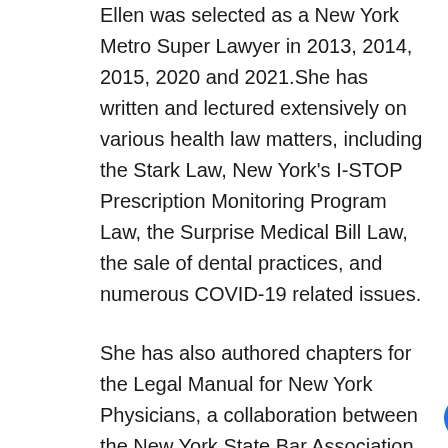Ellen was selected as a New York Metro Super Lawyer in 2013, 2014, 2015, 2020 and 2021.She has written and lectured extensively on various health law matters, including the Stark Law, New York's I-STOP Prescription Monitoring Program Law, the Surprise Medical Bill Law, the sale of dental practices, and numerous COVID-19 related issues.
She has also authored chapters for the Legal Manual for New York Physicians, a collaboration between the New York State Bar Association and the Medical Society of the State of New York, which is a valuable resource to physicians on the many legal and regulatory requirements that affect the practice of medicine.
Prior to her career in law, she had a distinguished career in nursing and nursing education at various New York hospitals. At law school, she served as a